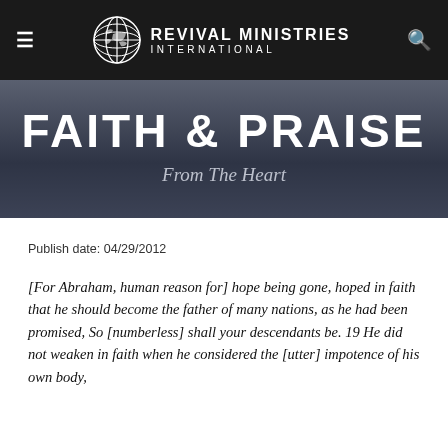Revival Ministries International
FAITH & PRAISE
From The Heart
Publish date: 04/29/2012
[For Abraham, human reason for] hope being gone, hoped in faith that he should become the father of many nations, as he had been promised, So [numberless] shall your descendants be. 19 He did not weaken in faith when he considered the [utter] impotence of his own body,